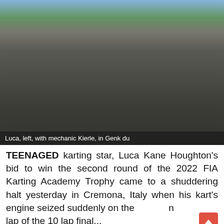[Figure (photo): Two people standing on a karting track. A younger person on the left wearing a Nike navy shirt and yellow/blue karting suit, giving a thumbs up, and a taller person on the right in a black shirt and black shorts. Yellow racing karts visible behind them. A busy race paddock in the background.]
Luca, left, with mechanic Kierle, in Genk du
TEENAGED karting star, Luca Kane Houghton's bid to win the second round of the 2022 FIA Karting Academy Trophy came to a shuddering halt yesterday in Cremona, Italy when his kart's engine seized suddenly on the lap of the 10 lap final...